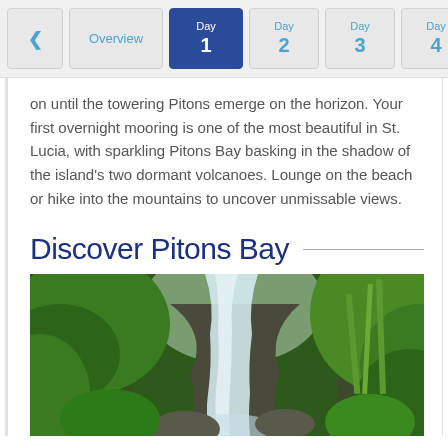< Overview | Day 1 | Day 2 | Day 3 | Day 4 | >
on until the towering Pitons emerge on the horizon. Your first overnight mooring is one of the most beautiful in St. Lucia, with sparkling Pitons Bay basking in the shadow of the island's two dormant volcanoes. Lounge on the beach or hike into the mountains to uncover unmissable views.
Discover Pitons Bay
[Figure (photo): A waterfall cascading down rocky terrain surrounded by lush green tropical vegetation]